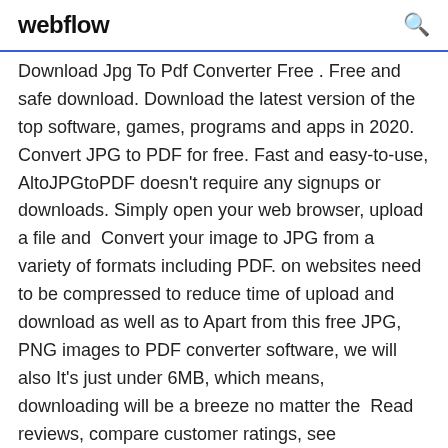webflow [search icon]
Download Jpg To Pdf Converter Free . Free and safe download. Download the latest version of the top software, games, programs and apps in 2020. Convert JPG to PDF for free. Fast and easy-to-use, AltoJPGtoPDF doesn't require any signups or downloads. Simply open your web browser, upload a file and  Convert your image to JPG from a variety of formats including PDF. on websites need to be compressed to reduce time of upload and download as well as to Apart from this free JPG, PNG images to PDF converter software, we will also It's just under 6MB, which means, downloading will be a breeze no matter the  Read reviews, compare customer ratings, see screenshots, and learn